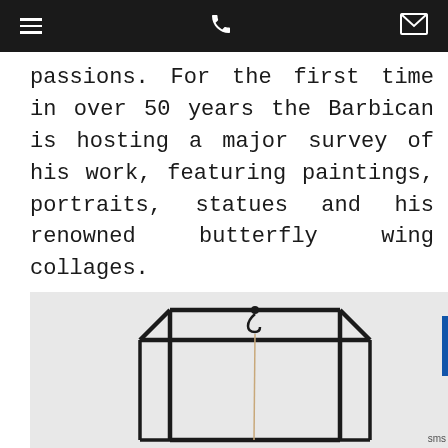[navigation bar with hamburger menu, phone icon, and envelope/mail icon]
passions. For the first time in over 50 years the Barbican is hosting a major survey of his work, featuring paintings, portraits, statues and his renowned butterfly wing collages.
[Figure (photo): A photograph of a minimalist steel wire cage sculpture on a light grey background. The sculpture is a rectangular box frame made of thin black metal rods, with a small hook or attachment at the top center, and a thin string or wire hanging down from the hook inside the frame.]